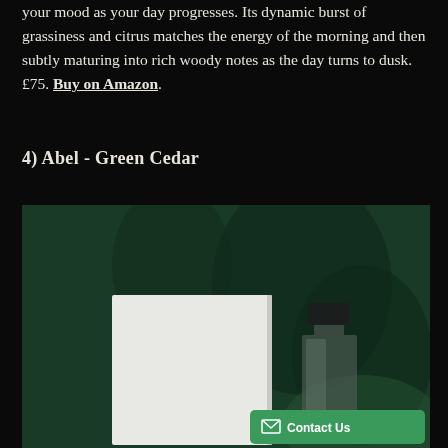your mood as your day progresses. Its dynamic burst of grassiness and citrus matches the energy of the morning and then subtly maturing into rich woody notes as the day turns to dusk. £75. Buy on Amazon.
4) Abel - Green Cedar
[Figure (photo): A perfume bottle with black cap and transparent glass body next to a white rectangular box, photographed against a dark green background with shadowy leaf patterns.]